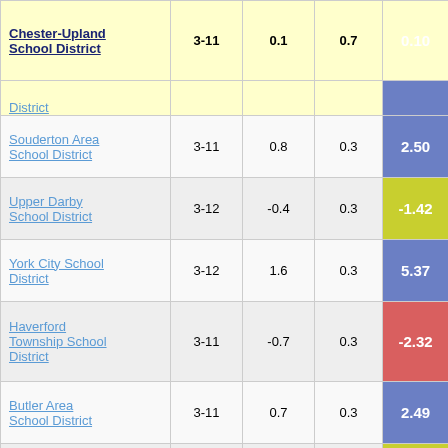| School District | Grades | Col3 | Col4 | Score |
| --- | --- | --- | --- | --- |
| Chester-Upland School District | 3-11 | 0.1 | 0.7 | 0.10 |
| District (partial) |  |  |  |  |
| Souderton Area School District | 3-11 | 0.8 | 0.3 | 2.50 |
| Upper Darby School District | 3-12 | -0.4 | 0.3 | -1.42 |
| York City School District | 3-12 | 1.6 | 0.3 | 5.37 |
| Haverford Township School District | 3-11 | -0.7 | 0.3 | -2.32 |
| Butler Area School District | 3-11 | 0.7 | 0.3 | 2.49 |
| Altoona Area School District | 3-12 | -0.5 | 0.3 | -1.84 |
| Pennridge School District (partial) | 3-10 | -1.2 | 0.3 | -3.99 |